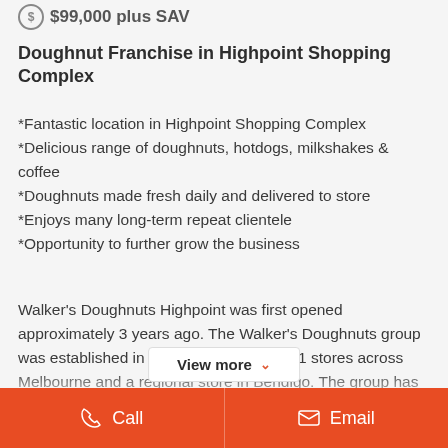$99,000 plus SAV
Doughnut Franchise in Highpoint Shopping Complex
*Fantastic location in Highpoint Shopping Complex
*Delicious range of doughnuts, hotdogs, milkshakes & coffee
*Doughnuts made fresh daily and delivered to store
*Enjoys many long-term repeat clientele
*Opportunity to further grow the business
Walker's Doughnuts Highpoint was first opened approximately 3 years ago. The Walker's Doughnuts group was established in 2006 and today has 11 stores across Melbourne and a regional store in Bendigo. The group has recently added a new store in Queensland
View more
Call  Email